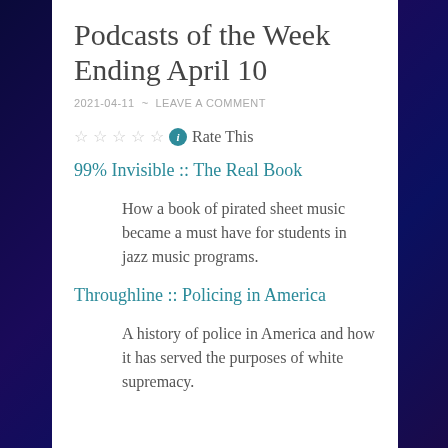Podcasts of the Week Ending April 10
2021-04-11 ~ LEAVE A COMMENT
☆☆☆☆☆ ℹ Rate This
99% Invisible :: The Real Book
How a book of pirated sheet music became a must have for students in jazz music programs.
Throughline :: Policing in America
A history of police in America and how it has served the purposes of white supremacy.